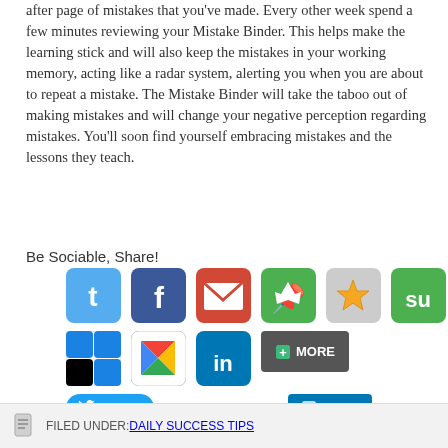after page of mistakes that you've made. Every other week spend a few minutes reviewing your Mistake Binder. This helps make the learning stick and will also keep the mistakes in your working memory, acting like a radar system, alerting you when you are about to repeat a mistake. The Mistake Binder will take the taboo out of making mistakes and will change your negative perception regarding mistakes. You'll soon find yourself embracing mistakes and the lessons they teach.
Be Sociable, Share!
[Figure (infographic): Social sharing buttons including Twitter, Facebook, Gmail, Pinboard, StumbleUpon, ShareThis, ShareThis(2), Google+, LinkedIn icons plus Tweet, Share, Pin and More buttons]
FILED UNDER: DAILY SUCCESS TIPS